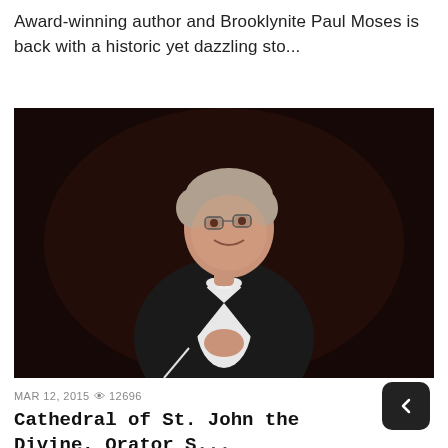Award-winning author and Brooklynite Paul Moses is back with a historic yet dazzling sto...
[Figure (photo): A conductor in a black tuxedo with white bow tie, smiling and holding a conductor's baton, photographed against a dark background]
MAR 12, 2015 👁 12696
Cathedral of St. John the Divine, Orator S...